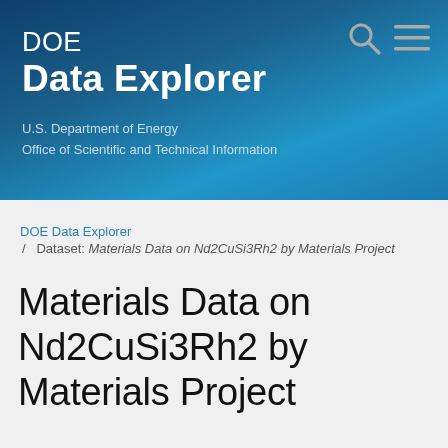DOE Data Explorer — U.S. Department of Energy Office of Scientific and Technical Information
DOE Data Explorer / Dataset: Materials Data on Nd2CuSi3Rh2 by Materials Project
Materials Data on Nd2CuSi3Rh2 by Materials Project